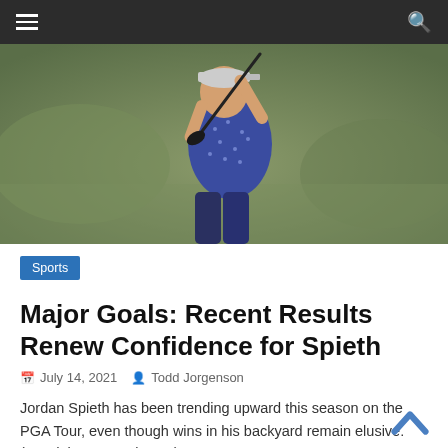Navigation bar with hamburger menu and search icon
[Figure (photo): Golfer swinging a club — man in blue polka-dot shirt mid-follow-through, green blurred background]
Sports
Major Goals: Recent Results Renew Confidence for Spieth
July 14, 2021  Todd Jorgenson
Jordan Spieth has been trending upward this season on the PGA Tour, even though wins in his backyard remain elusive. (Read time: 3.1 minutes)
Read more